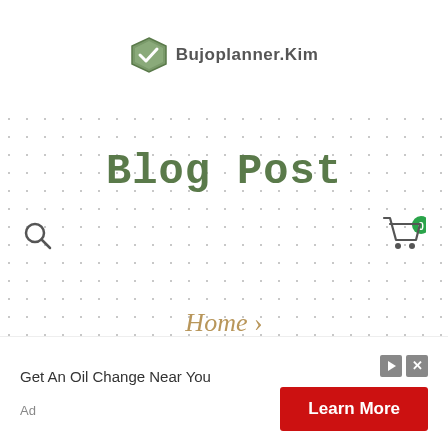Bujoplanner.Kim
Blog Post
Home >
What to do with 2020 yearly resolutions
Get An Oil Change Near You  Learn More  Ad